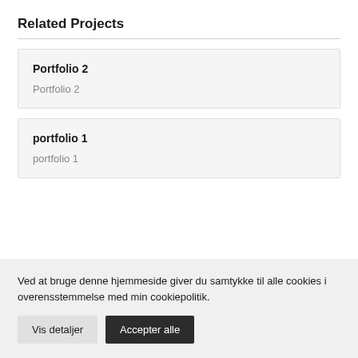Related Projects
Portfolio 2
Portfolio 2
portfolio 1
portfolio 1
Ved at bruge denne hjemmeside giver du samtykke til alle cookies i overensstemmelse med min cookiepolitik.
Vis detaljer
Accepter alle